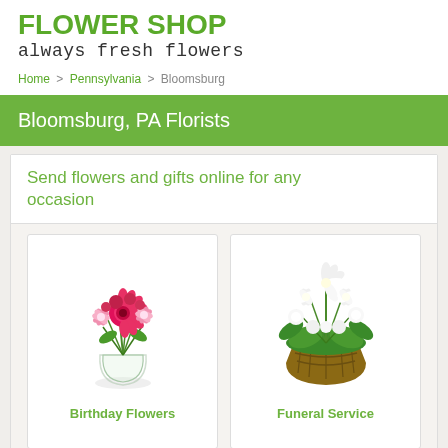FLOWER SHOP
always fresh flowers
Home > Pennsylvania > Bloomsburg
Bloomsburg, PA Florists
Send flowers and gifts online for any occasion
[Figure (illustration): Pink and magenta flower bouquet in a glass vase, with gerbera daisies and lilies]
Birthday Flowers
[Figure (illustration): White flower arrangement in a wicker basket with lilies and greenery]
Funeral Service